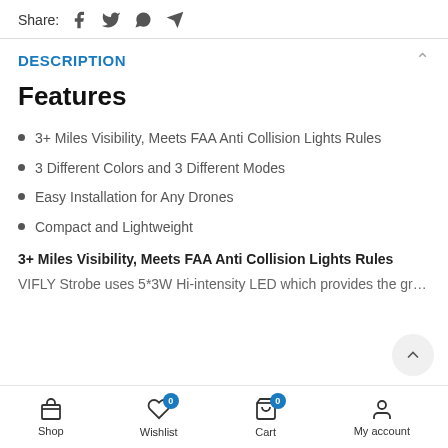Share:  [social icons: Facebook, Twitter, WhatsApp, Telegram]
DESCRIPTION
Features
3+ Miles Visibility, Meets FAA Anti Collision Lights Rules
3 Different Colors and 3 Different Modes
Easy Installation for Any Drones
Compact and Lightweight
3+ Miles Visibility, Meets FAA Anti Collision Lights Rules
VIFLY Strobe uses 5*3W Hi-intensity LED which provides the grea...
Shop | Wishlist 0 | Cart 0 | My account